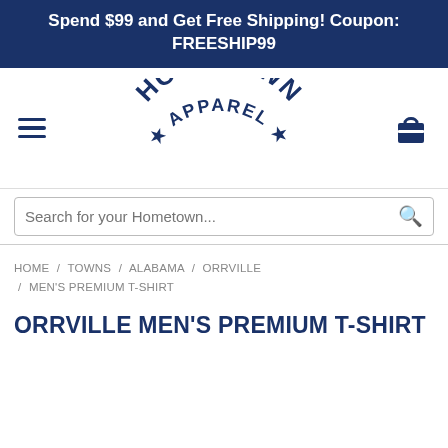Spend $99 and Get Free Shipping! Coupon: FREESHIP99
[Figure (logo): Hometown Apparel logo with hamburger menu and cart icon]
Search for your Hometown...
HOME / TOWNS / ALABAMA / ORRVILLE / MEN'S PREMIUM T-SHIRT
ORRVILLE MEN'S PREMIUM T-SHIRT